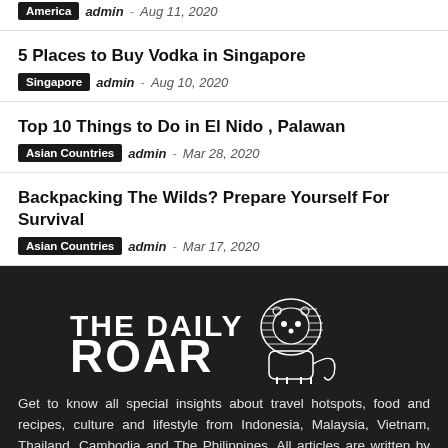America  admin  Aug 11, 2020
5 Places to Buy Vodka in Singapore
Singapore  admin  Aug 10, 2020
Top 10 Things to Do in El Nido , Palawan
Asian Countries  admin  Mar 28, 2020
Backpacking The Wilds? Prepare Yourself For Survival
Asian Countries  admin  Mar 17, 2020
[Figure (logo): The Daily Roar logo — white text with lion illustration on dark background]
Get to know all special insights about travel hotspots, food and recipes, culture and lifestyle from Indonesia, Malaysia, Vietnam, Thailand, Cambodia and The Philippines. All articles are written by locals. The Daily